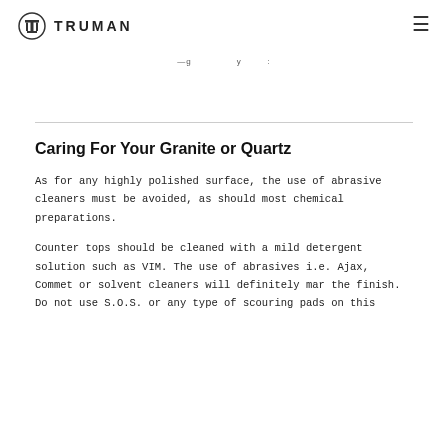TRUMAN
...g ... y ...:
Caring For Your Granite or Quartz
As for any highly polished surface, the use of abrasive cleaners must be avoided, as should most chemical preparations.
Counter tops should be cleaned with a mild detergent solution such as VIM. The use of abrasives i.e. Ajax, Commet or solvent cleaners will definitely mar the finish. Do not use S.O.S. or any type of scouring pads on this...